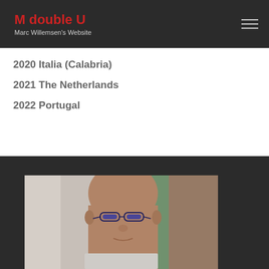M double U — Marc Willemsen's Website
2020 Italia (Calabria)
2021 The Netherlands
2022 Portugal
[Figure (photo): Portrait photo of a bald man with glasses, partially visible, cropped at the bottom of the page]